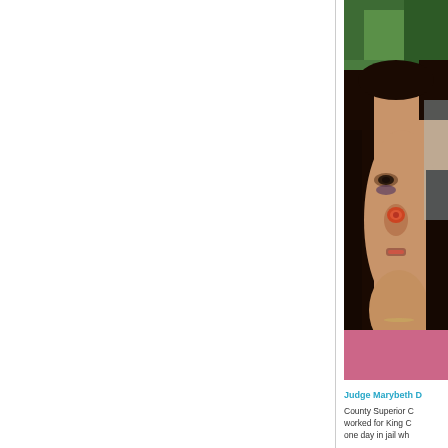[Figure (photo): Close-up photograph of a woman with visible facial injuries including bruising and wounds on her nose and cheek, with dark hair, shown from shoulders up against a background of green foliage.]
Judge Marybeth D... County Superior C... worked for King C... one day in jail wh...